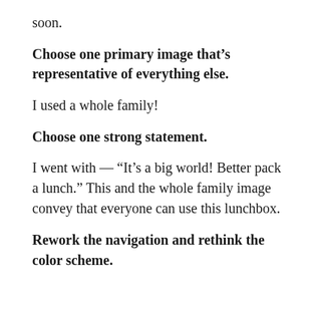soon.
Choose one primary image that's representative of everything else.
I used a whole family!
Choose one strong statement.
I went with — “It’s a big world! Better pack a lunch.” This and the whole family image convey that everyone can use this lunchbox.
Rework the navigation and rethink the color scheme.